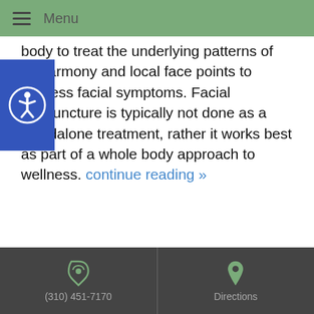Menu
body to treat the underlying patterns of disharmony and local face points to address facial symptoms. Facial acupuncture is typically not done as a standalone treatment, rather it works best as part of a whole body approach to wellness. continue reading »
« older articles
Click here to schedule appointment
(310) 451-7170   Directions